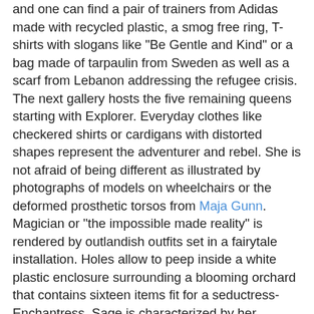and one can find a pair of trainers from Adidas made with recycled plastic, a smog free ring, T-shirts with slogans like "Be Gentle and Kind" or a bag made of tarpaulin from Sweden as well as a scarf from Lebanon addressing the refugee crisis. The next gallery hosts the five remaining queens starting with Explorer. Everyday clothes like checkered shirts or cardigans with distorted shapes represent the adventurer and rebel. She is not afraid of being different as illustrated by photographs of models on wheelchairs or the deformed prosthetic torsos from Maja Gunn. Magician or "the impossible made reality" is rendered by outlandish outfits set in a fairytale installation. Holes allow to peep inside a white plastic enclosure surrounding a blooming orchard that contains sixteen items fit for a seductress-Enchantress. Sage is characterized by her wisdom and wades into "smart-garments": shoes made of pineapple waste, sounds-suits for deaf people, a "cymatic" dress, biodegradable textile made of cow manure or jewelry controlled by mobile devices. Ecological to sci-fi, fashion has no limit thanks to new technologies presented in six short videos while samples of the real things are displayed in a glass case. The final queen, Heroin, a soldier and warrior,